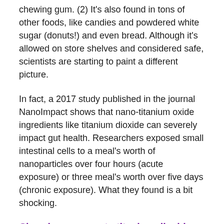chewing gum. (2) It's also found in tons of other foods, like candies and powdered white sugar (donuts!) and even bread. Although it's allowed on store shelves and considered safe, scientists are starting to paint a different picture.
In fact, a 2017 study published in the journal NanoImpact shows that nano-titanium oxide ingredients like titanium dioxide can severely impact gut health. Researchers exposed small intestinal cells to a meal's worth of nanoparticles over four hours (acute exposure) or three meal's worth over five days (chronic exposure). What they found is a bit shocking.
Chronic exposure to titanium dioxide nanoparticles in the diet: